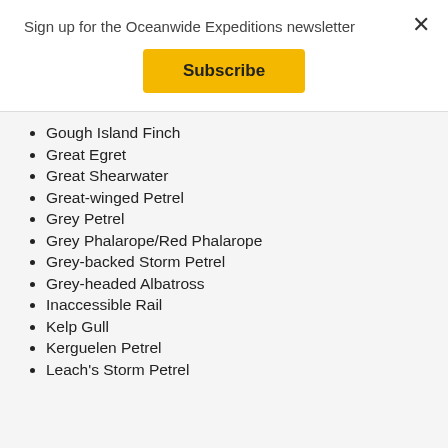Sign up for the Oceanwide Expeditions newsletter
×
Subscribe
Gough Island Finch
Great Egret
Great Shearwater
Great-winged Petrel
Grey Petrel
Grey Phalarope/Red Phalarope
Grey-backed Storm Petrel
Grey-headed Albatross
Inaccessible Rail
Kelp Gull
Kerguelen Petrel
Leach's Storm Petrel